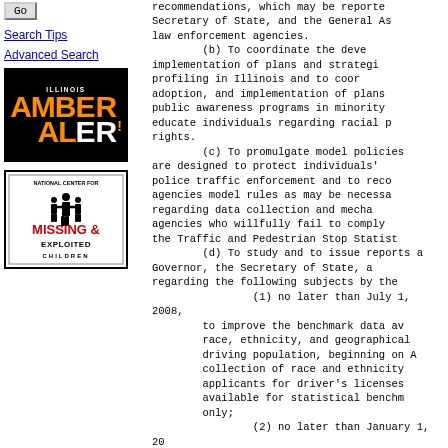Go (button)
Search Tips
Advanced Search
[Figure (logo): Illinois Amber Alert logo — black background with orange AMBER and white ALERT text and Illinois label]
[Figure (logo): National Center for Missing & Exploited Children logo with silhouette of adult and two children]
recommendations, which may be reported to the Secretary of State, and the General Assembly and law enforcement agencies.
        (b) To coordinate the development and implementation of plans and strategies to combat racial profiling in Illinois and to coordinate the development, adoption, and implementation of plans and programs and public awareness programs in minority communities to educate individuals regarding racial profiling and their rights.
        (c) To promulgate model policies and guidelines that are designed to protect individuals' rights during police traffic enforcement and to recommend to law enforcement agencies model rules as may be necessary for training regarding data collection and mechanisms to discipline agencies who willfully fail to comply with provisions of the Traffic and Pedestrian Stop Statistics Act.
        (d) To study and to issue reports and recommendations to the Governor, the Secretary of State, and the General Assembly regarding the following subjects by the following dates:
                (1) no later than July 1, 2008, ways to improve the benchmark data available to analyze race, ethnicity, and geographical representations in the driving population, beginning on August 1, 2004, require collection of race and ethnicity information from applicants for driver's licenses but make the data available for statistical benchmarking purposes only;
                (2) no later than January 1, 2009, data collection requirements with respect to